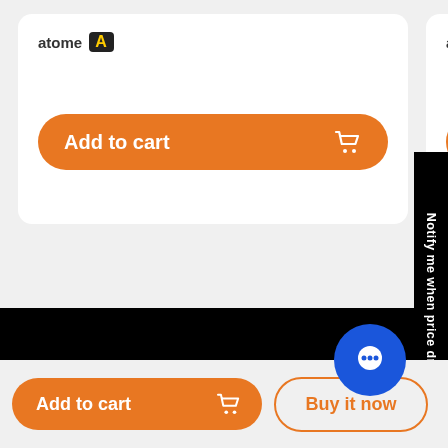[Figure (screenshot): E-commerce product page showing two 'Add to cart' buttons with shopping cart icons in orange, each preceded by 'atome A' label at top of cards]
Live Chat
Monday - Saturday
9am to 6pm
Add to cart
Buy it now
Notify me when price drops